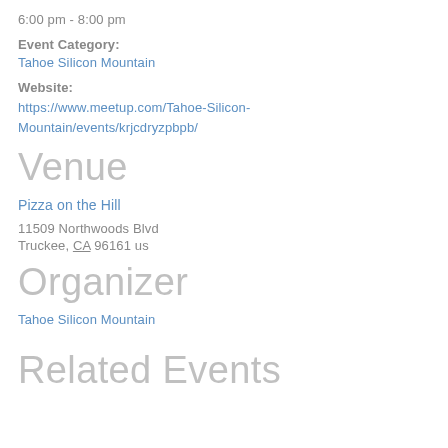6:00 pm - 8:00 pm
Event Category:
Tahoe Silicon Mountain
Website:
https://www.meetup.com/Tahoe-Silicon-Mountain/events/krjcdryzpbpb/
Venue
Pizza on the Hill
11509 Northwoods Blvd
Truckee, CA 96161 us
Organizer
Tahoe Silicon Mountain
Related Events